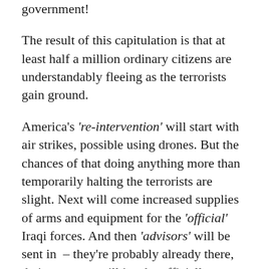government!
The result of this capitulation is that at least half a million ordinary citizens are understandably fleeing as the terrorists gain ground.
America's 're-intervention' will start with air strikes, possible using drones. But the chances of that doing anything more than temporarily halting the terrorists are slight. Next will come increased supplies of arms and equipment for the 'official' Iraqi forces. And then 'advisors' will be sent in – they're probably already there, their presence will just be officially acknowledged.
[partial text continues below]